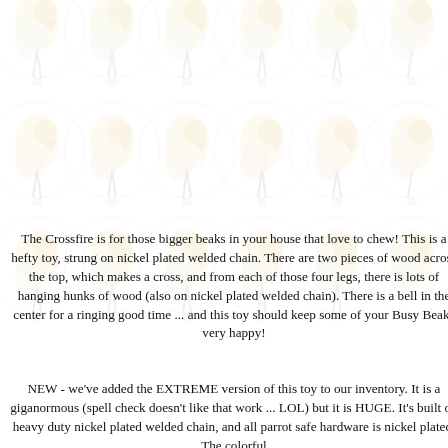[Figure (illustration): Repeating watermark/background pattern of cartoon parrot mascot illustrations arranged in a grid across the page]
The Crossfire is for those bigger beaks in your house that love to chew! This is a hefty toy, strung on nickel plated welded chain. There are two pieces of wood across the top, which makes a cross, and from each of those four legs, there is lots of hanging hunks of wood (also on nickel plated welded chain). There is a bell in the center for a ringing good time ... and this toy should keep some of your Busy Beaks very happy!
NEW - we've added the EXTREME version of this toy to our inventory. It is a giganormous (spell check doesn't like that work ... LOL) but it is HUGE. It's built on heavy duty nickel plated welded chain, and all parrot safe hardware is nickel plated. The colorful